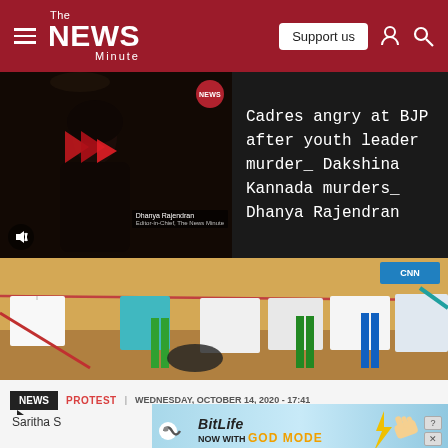The News Minute — Support us
[Figure (screenshot): Video thumbnail of Dhanya Rajendran with play button overlay on dark background, NEWS badge top right, mute icon bottom left]
Cadres angry at BJP after youth leader murder_ Dakshina Kannada murders_ Dhanya Rajendran
[Figure (photo): Clothes hanging on a line outdoors on sandy ground with colorful plastic chairs in background]
NEWS  PROTEST  |  WEDNESDAY, OCTOBER 14, 2020 - 17:41
Saritha S
[Figure (screenshot): BitLife advertisement banner — NOW WITH GOD MODE]